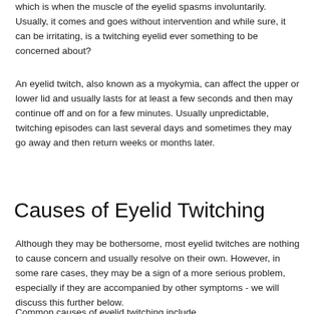which is when the muscle of the eyelid spasms involuntarily. Usually, it comes and goes without intervention and while sure, it can be irritating, is a twitching eyelid ever something to be concerned about?
An eyelid twitch, also known as a myokymia, can affect the upper or lower lid and usually lasts for at least a few seconds and then may continue off and on for a few minutes. Usually unpredictable, twitching episodes can last several days and sometimes they may go away and then return weeks or months later.
Causes of Eyelid Twitching
Although they may be bothersome, most eyelid twitches are nothing to cause concern and usually resolve on their own. However, in some rare cases, they may be a sign of a more serious problem, especially if they are accompanied by other symptoms - we will discuss this further below.
Common causes of eyelid twitching include